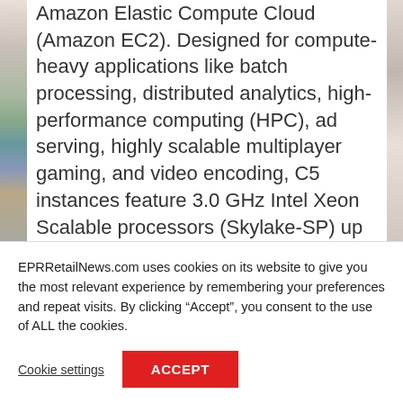Amazon Elastic Compute Cloud (Amazon EC2). Designed for compute-heavy applications like batch processing, distributed analytics, high-performance computing (HPC), ad serving, highly scalable multiplayer gaming, and video encoding, C5 instances feature 3.0 GHz Intel Xeon Scalable processors (Skylake-SP) up to 72 vCPUs.
EPRRetailNews.com uses cookies on its website to give you the most relevant experience by remembering your preferences and repeat visits. By clicking “Accept”, you consent to the use of ALL the cookies.
Cookie settings
ACCEPT